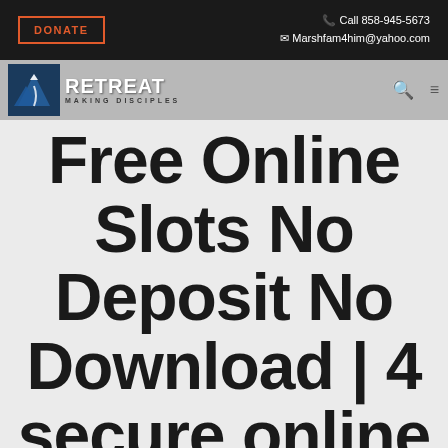DONATE | Call 858-945-5673 | Marshfam4him@yahoo.com
[Figure (logo): Retreat Making Disciples logo with mountain and road graphic]
Free Online Slots No Deposit No Download | 4 secure online